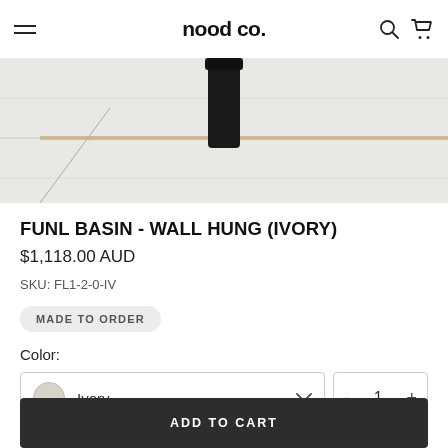nood co.
[Figure (photo): Bathroom product lifestyle photo showing marble tiles with a dark cylindrical faucet/tap fixture and a gold accent strip]
FUNL BASIN - WALL HUNG (IVORY)
$1,118.00 AUD
SKU: FL1-2-0-IV
MADE TO ORDER
Color:
Ivory
ADD TO CART